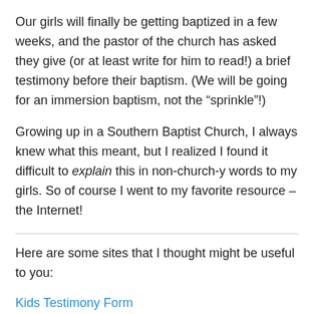Our girls will finally be getting baptized in a few weeks, and the pastor of the church has asked they give (or at least write for him to read!) a brief testimony before their baptism. (We will be going for an immersion baptism, not the “sprinkle”!)
Growing up in a Southern Baptist Church, I always knew what this meant, but I realized I found it difficult to explain this in non-church-y words to my girls. So of course I went to my favorite resource – the Internet!
Here are some sites that I thought might be useful to you:
Kids Testimony Form
Free Testimony Worksheet